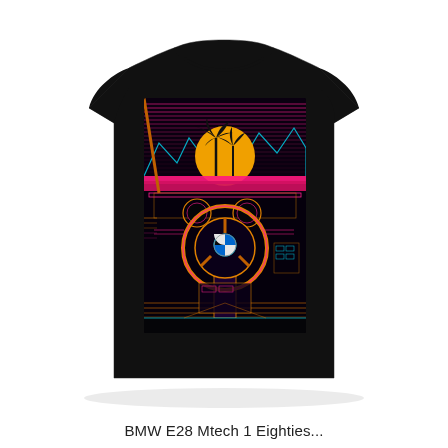[Figure (illustration): A black t-shirt with a retro 1980s synthwave-style graphic. The graphic shows the interior view of a BMW E28 Mtech 1 car dashboard and steering wheel with the BMW logo, against a retrowave landscape background featuring a large orange sun setting behind palm trees, neon pink horizontal lines, and geometric cyan/teal mountain outlines. The illustration uses neon colors (pink, cyan, orange, yellow) on a dark background.]
BMW E28 Mtech 1 Eighties...